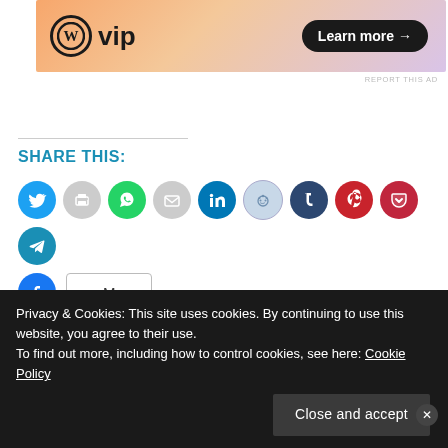[Figure (screenshot): WordPress VIP advertisement banner with orange/purple gradient, WP logo, and 'Learn more →' button]
REPORT THIS AD
SHARE THIS:
[Figure (infographic): Social media share buttons: Twitter, Print, WhatsApp, Email, LinkedIn, Reddit, Tumblr, Pinterest, Pocket, Telegram, Facebook, and a More button]
LIKE THIS:
Like
Be the first to like this.
Privacy & Cookies: This site uses cookies. By continuing to use this website, you agree to their use.
To find out more, including how to control cookies, see here: Cookie Policy
Close and accept